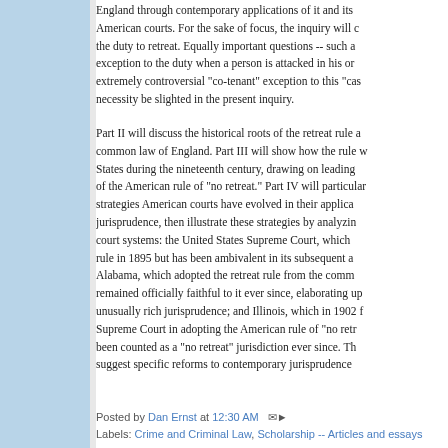England through contemporary applications of it and its American courts. For the sake of focus, the inquiry will c the duty to retreat. Equally important questions -- such a exception to the duty when a person is attacked in his or extremely controversial "co-tenant" exception to this "cas necessity be slighted in the present inquiry.
Part II will discuss the historical roots of the retreat rule a common law of England. Part III will show how the rule w States during the nineteenth century, drawing on leading of the American rule of "no retreat." Part IV will particular strategies American courts have evolved in their applica jurisprudence, then illustrate these strategies by analyzin court systems: the United States Supreme Court, which rule in 1895 but has been ambivalent in its subsequent a Alabama, which adopted the retreat rule from the comm remained officially faithful to it ever since, elaborating up unusually rich jurisprudence; and Illinois, which in 1902 f Supreme Court in adopting the American rule of "no retr been counted as a "no retreat" jurisdiction ever since. Th suggest specific reforms to contemporary jurisprudence
Posted by Dan Ernst at 12:30 AM  Labels: Crime and Criminal Law, Scholarship -- Articles and essays